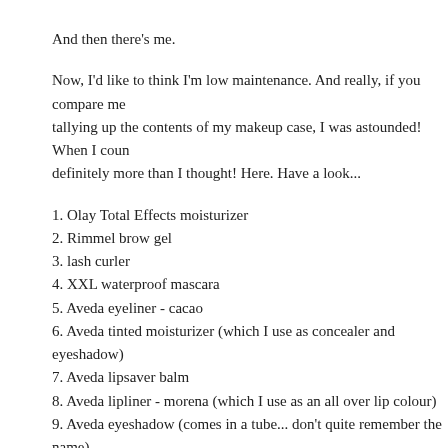And then there's me.
Now, I'd like to think I'm low maintenance. And really, if you compare me tallying up the contents of my makeup case, I was astounded! When I counted, definitely more than I thought! Here. Have a look...
1. Olay Total Effects moisturizer
2. Rimmel brow gel
3. lash curler
4. XXL waterproof mascara
5. Aveda eyeliner - cacao
6. Aveda tinted moisturizer (which I use as concealer and eyeshadow)
7. Aveda lipsaver balm
8. Aveda lipliner - morena (which I use as an all over lip colour)
9. Aveda eyeshadow (comes in a tube... don't quite remember the name)
10. MAC retractable lip brush
11. makeup pencil sharpener
12. tweezers
13. hairbrush
14. Aveda Confixor styling lotion
15. PM Tea Tree shampoo